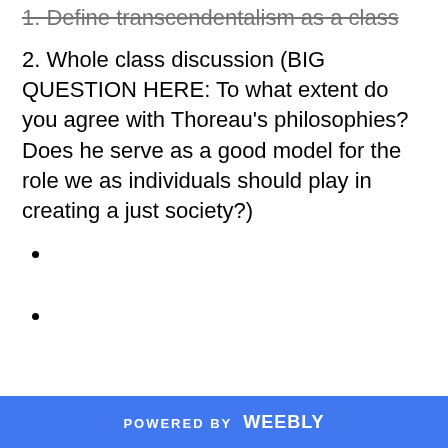1. Define transcendentalism as a class
2. Whole class discussion (BIG QUESTION HERE: To what extent do you agree with Thoreau's philosophies? Does he serve as a good model for the role we as individuals should play in creating a just society?)
POWERED BY weebly